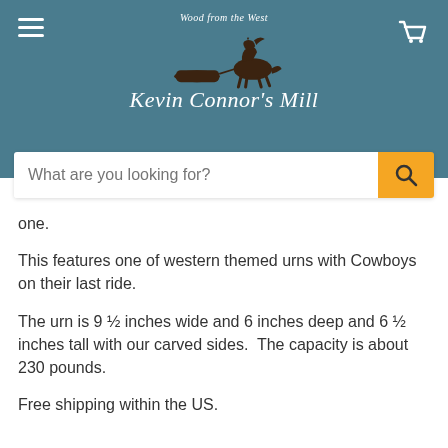[Figure (logo): Kevin Connor's Mill logo with horse pulling a log and tagline 'Wood from the West']
one.
This features one of western themed urns with Cowboys on their last ride.
The urn is 9 ½ inches wide and 6 inches deep and 6 ½ inches tall with our carved sides.  The capacity is about 230 pounds.
Free shipping within the US.